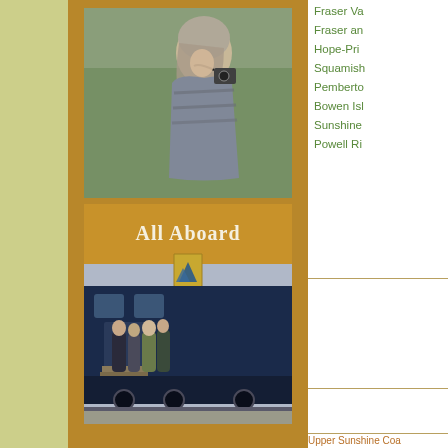[Figure (photo): Woman with grey hair holding a camera, wearing a grey shawl, photographed from the side with trees in background]
[Figure (photo): Rocky Mountaineer train car with 'All Aboard' text and mountain logo, group of people boarding the train at a station]
Fraser Va...
Fraser an...
Hope-Pri...
Squamish...
Pemberto...
Bowen Isl...
Sunshine ...
Powell Ri...
Upper Sunshine Coa...